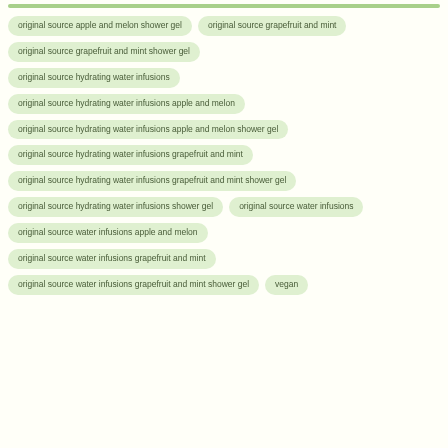original source apple and melon shower gel
original source grapefruit and mint
original source grapefruit and mint shower gel
original source hydrating water infusions
original source hydrating water infusions apple and melon
original source hydrating water infusions apple and melon shower gel
original source hydrating water infusions grapefruit and mint
original source hydrating water infusions grapefruit and mint shower gel
original source hydrating water infusions shower gel
original source water infusions
original source water infusions apple and melon
original source water infusions grapefruit and mint
original source water infusions grapefruit and mint shower gel
vegan